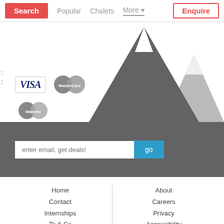Search | Popular | Chalets | More | Enquire
[Figure (logo): Payment logos: VISA, MasterCard, Maestro]
[Figure (illustration): Mountain silhouette illustration with dark grey and light grey peaks]
enter email, get deals!
Home | Contact | Internships | Ts & Cs | About | Careers | Privacy | Accessibility